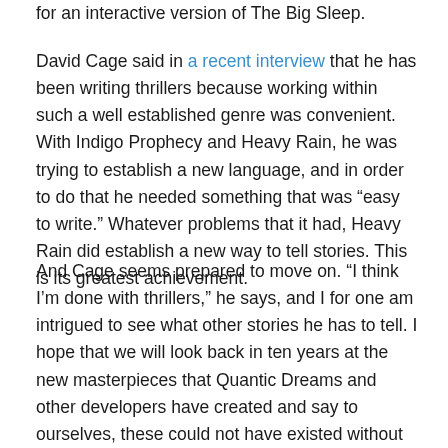for an interactive version of The Big Sleep.
David Cage said in a recent interview that he has been writing thrillers because working within such a well established genre was convenient. With Indigo Prophecy and Heavy Rain, he was trying to establish a new language, and in order to do that he needed something that was “easy to write.” Whatever problems that it had, Heavy Rain did establish a new way to tell stories. This is its greatest achievement.
And Cage seems prepared to move on. “I think I’m done with thrillers,” he says, and I for one am intrigued to see what other stories he has to tell. I hope that we will look back in ten years at the new masterpieces that Quantic Dreams and other developers have created and say to ourselves, these could not have existed without Heavy Rain.